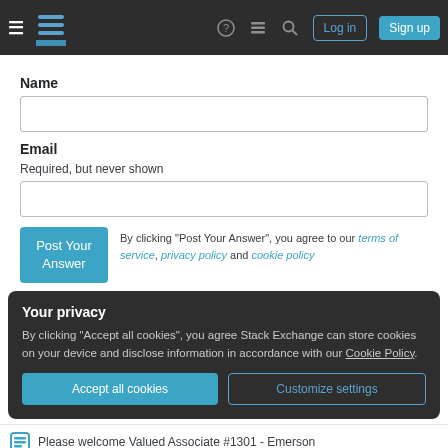Stack Exchange navigation header with Log in and Sign up buttons
Name
Email
Required, but never shown
By clicking "Post Your Answer", you agree to our terms of service, privacy policy and cookie policy
Your privacy
By clicking "Accept all cookies", you agree Stack Exchange can store cookies on your device and disclose information in accordance with our Cookie Policy.
Please welcome Valued Associate #1301 - Emerson